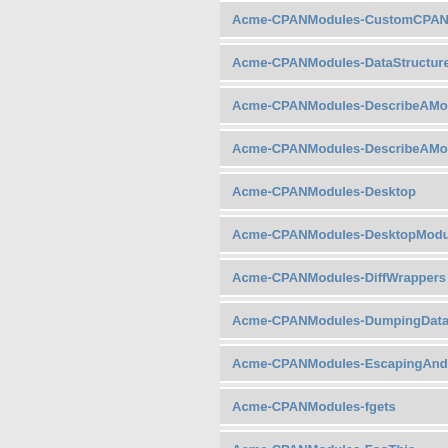Acme-CPANModules-CustomCPAN
Acme-CPANModules-DataStructure
Acme-CPANModules-DescribeAMo
Acme-CPANModules-DescribeAMo
Acme-CPANModules-Desktop
Acme-CPANModules-DesktopModu
Acme-CPANModules-DiffWrappers
Acme-CPANModules-DumpingData
Acme-CPANModules-EscapingAnd
Acme-CPANModules-fgets
Acme-CPANModules-FooThis
Acme-CPANModules-Foozilla